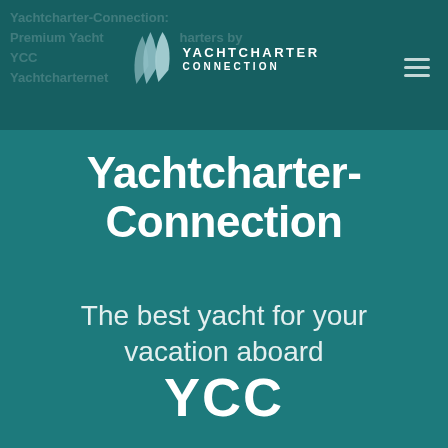Yachtcharter-Connection: Premium Yacht Charters by YCC Yachtcharternet
[Figure (logo): Yachtcharter Connection logo with silver chevron sail shapes and white uppercase wordmark text]
Yachtcharter-Connection
The best yacht for your vacation aboard
YCC